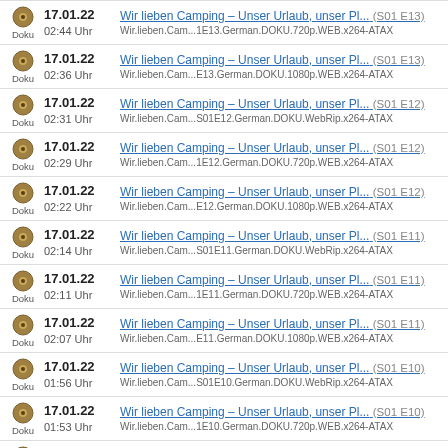17.01.22 02:44 Uhr | Wir lieben Camping – Unser Urlaub, unser Pl... (S01 E13) | Wir.lieben.Cam...1E13.German.DOKU.720p.WEB.x264-ATAX
17.01.22 02:36 Uhr | Wir lieben Camping – Unser Urlaub, unser Pl... (S01 E13) | Wir.lieben.Cam...E13.German.DOKU.1080p.WEB.x264-ATAX
17.01.22 02:31 Uhr | Wir lieben Camping – Unser Urlaub, unser Pl... (S01 E12) | Wir.lieben.Cam...S01E12.German.DOKU.WebRip.x264-ATAX
17.01.22 02:29 Uhr | Wir lieben Camping – Unser Urlaub, unser Pl... (S01 E12) | Wir.lieben.Cam...1E12.German.DOKU.720p.WEB.x264-ATAX
17.01.22 02:22 Uhr | Wir lieben Camping – Unser Urlaub, unser Pl... (S01 E12) | Wir.lieben.Cam...E12.German.DOKU.1080p.WEB.x264-ATAX
17.01.22 02:14 Uhr | Wir lieben Camping – Unser Urlaub, unser Pl... (S01 E11) | Wir.lieben.Cam...S01E11.German.DOKU.WebRip.x264-ATAX
17.01.22 02:11 Uhr | Wir lieben Camping – Unser Urlaub, unser Pl... (S01 E11) | Wir.lieben.Cam...1E11.German.DOKU.720p.WEB.x264-ATAX
17.01.22 02:07 Uhr | Wir lieben Camping – Unser Urlaub, unser Pl... (S01 E11) | Wir.lieben.Cam...E11.German.DOKU.1080p.WEB.x264-ATAX
17.01.22 01:56 Uhr | Wir lieben Camping – Unser Urlaub, unser Pl... (S01 E10) | Wir.lieben.Cam...S01E10.German.DOKU.WebRip.x264-ATAX
17.01.22 01:53 Uhr | Wir lieben Camping – Unser Urlaub, unser Pl... (S01 E10) | Wir.lieben.Cam...1E10.German.DOKU.720p.WEB.x264-ATAX
17.01.22 01:47 Uhr | Wir lieben Camping – Unser Urlaub, unser Pl... (S01 E10) | Wir.lieben.Cam...E10.German.DOKU.1080p.WEB.x264-ATAX
17.01.22 01:40 Uhr | Wir lieben Camping – Unser Urlaub, unser Pl... (S01 E09) | Wir.lieben.Cam...S01E09.German.DOKU.WebRip.x264-ATAX